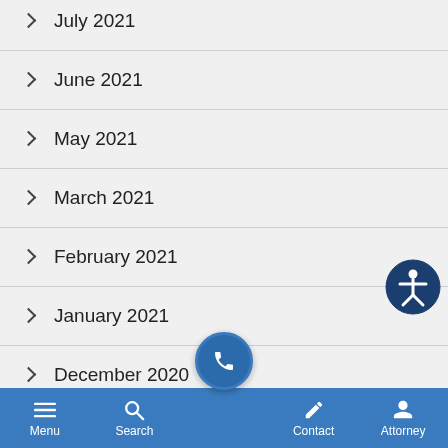July 2021
June 2021
May 2021
March 2021
February 2021
January 2021
December 2020
November 2020
Menu  Search  Contact  Attorney